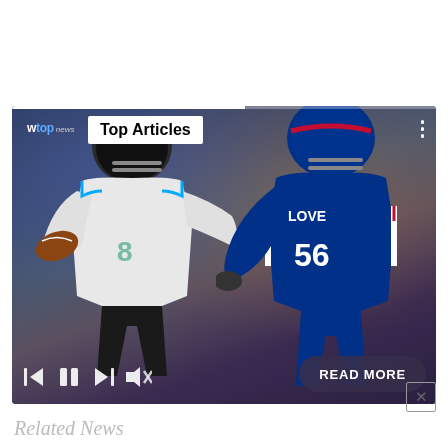[Figure (screenshot): WTOP News video player showing NFL football action - Carolina Panthers quarterback being rushed by Buffalo Bills defender wearing #56 LOVE jersey. Video player overlay shows 'Top Articles' banner, WTOP news logo, playback controls (skip back, pause, skip forward, mute), and a 'READ MORE' button.]
×
Related News